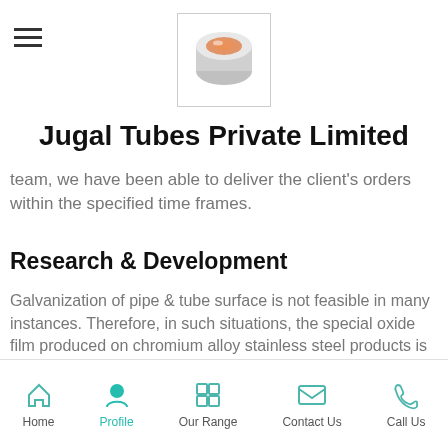[Figure (logo): Jugal Tubes Private Limited logo — circular metallic tube/pipe graphic in an orange/silver color scheme inside a white bordered box]
Jugal Tubes Private Limited
team, we have been able to deliver the client's orders within the specified time frames.
Research & Development
Galvanization of pipe & tube surface is not feasible in many instances. Therefore, in such situations, the special oxide film produced on chromium alloy stainless steel products is highly suitable.  There are several types of corrosion resistant stainless steel alloys that are suitable for all type of plant environments. These anti corrosive Stainless steel sheets are used in fabri... of pipes, tubes and
Home | Profile | Our Range | Contact Us | Call Us